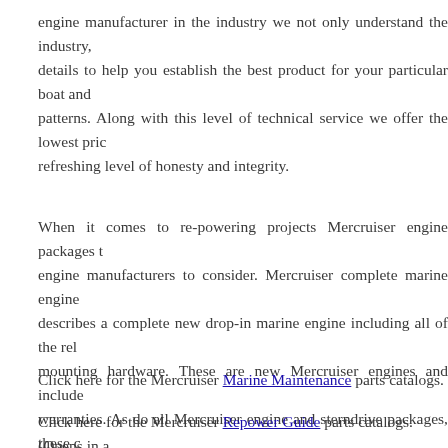engine manufacturer in the industry we not only understand the industry, details to help you establish the best product for your particular boat and patterns. Along with this level of technical service we offer the lowest pric refreshing level of honesty and integrity.
When it comes to re-powering projects Mercruiser engine packages t engine manufacturers to consider. Mercruiser complete marine engine describes a complete new drop-in marine engine including all of the rel mounting hardware. These are new Mercruiser engines and include warranties. As do all Mercruiser engine and sterndrive packages, these c fuel, electrical, cooling, exhaust, and accessory systems as well th assembly and sterndrive. Mercruiser engine and sterndrive packag warranted product.
Click here for the Mercruiser Marine Maintenance parts catalogs.
Click here for the Mercruiser Repower Guide parts catalogs. (Opens in a